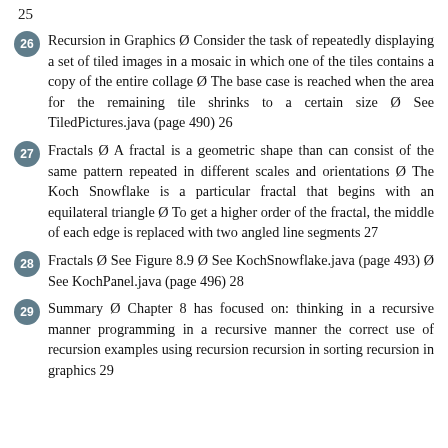25
26  Recursion in Graphics Ø Consider the task of repeatedly displaying a set of tiled images in a mosaic in which one of the tiles contains a copy of the entire collage Ø The base case is reached when the area for the remaining tile shrinks to a certain size Ø See TiledPictures.java (page 490) 26
27  Fractals Ø A fractal is a geometric shape than can consist of the same pattern repeated in different scales and orientations Ø The Koch Snowflake is a particular fractal that begins with an equilateral triangle Ø To get a higher order of the fractal, the middle of each edge is replaced with two angled line segments 27
28  Fractals Ø See Figure 8.9 Ø See KochSnowflake.java (page 493) Ø See KochPanel.java (page 496) 28
29  Summary Ø Chapter 8 has focused on: thinking in a recursive manner programming in a recursive manner the correct use of recursion examples using recursion recursion in sorting recursion in graphics 29